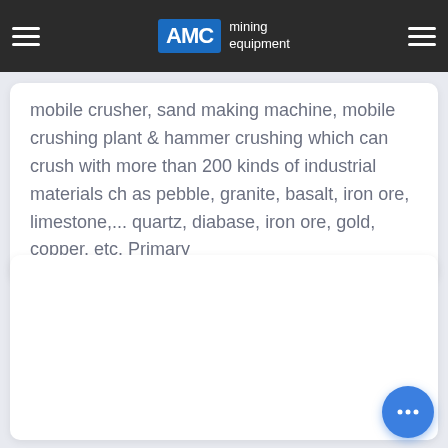AMC mining equipment
mobile crusher, sand making machine, mobile crushing plant & hammer crushing which can crush with more than 200 kinds of industrial materials ch as pebble, granite, basalt, iron ore, limestone,... quartz, diabase, iron ore, gold, copper, etc. Primary
[Figure (other): Empty white card / placeholder content area below the text card]